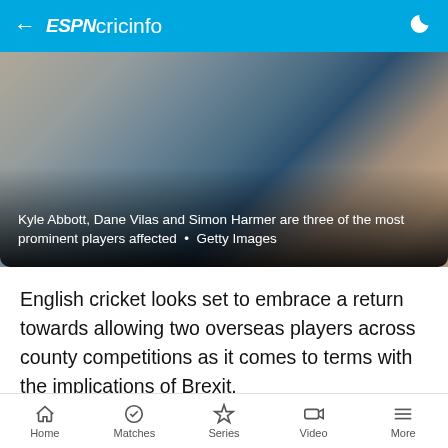ESPN cricinfo
[Figure (photo): Photo of Kyle Abbott, Dane Vilas and Simon Harmer standing together in sportswear outdoors]
Kyle Abbott, Dane Vilas and Simon Harmer are three of the most prominent players affected • Getty Images
English cricket looks set to embrace a return towards allowing two overseas players across county competitions as it comes to terms with the implications of Brexit.
The UK officially left the EU at the end of January. While most regulations remain in place, it is currently
Home  Matches  Series  Video  More